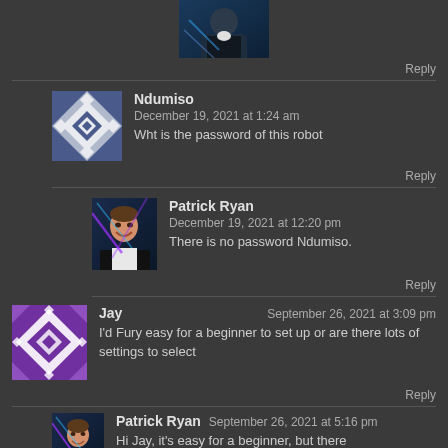[Figure (photo): Top avatar image of a person in dark clothing, partially visible at top]
Reply
[Figure (illustration): Avatar for Ndumiso - geometric diamond/square pattern in blue and white]
Ndumiso
December 19, 2021 at 1:24 am
Wht is the password of this robot
Reply
[Figure (photo): Avatar photo of Patrick Ryan - smiling man in black jacket against dark blue background]
Patrick Ryan
December 19, 2021 at 12:20 pm
There is no password Ndumiso.
Reply
[Figure (illustration): Avatar for Jay - geometric diamond/square pattern in purple and white]
Jay
September 26, 2021 at 3:09 pm
I'd Fury easy for a beginner to set up or are there lots of settings to select
Reply
[Figure (photo): Avatar photo of Patrick Ryan - smiling man in black jacket against dark blue background (small)]
Patrick Ryan
September 26, 2021 at 5:16 pm
Hi Jay, it's easy for a beginner, but there